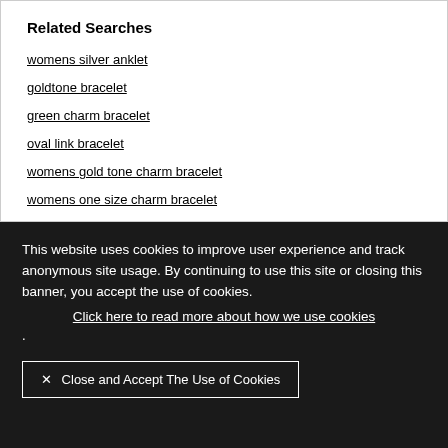Related Searches
womens silver anklet
goldtone bracelet
green charm bracelet
oval link bracelet
womens gold tone charm bracelet
womens one size charm bracelet
This website uses cookies to improve user experience and track anonymous site usage. By continuing to use this site or closing this banner, you accept the use of cookies. Click here to read more about how we use cookies .
✕ Close and Accept The Use of Cookies